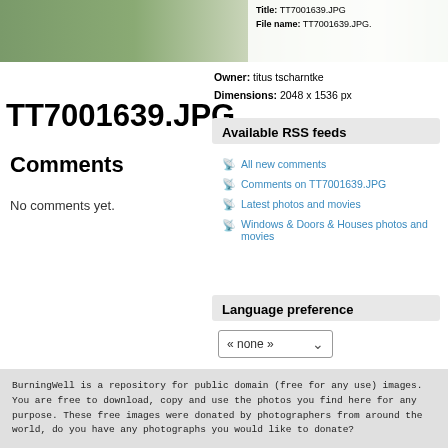[Figure (photo): Partial photo of a building/house with greenery visible, cropped at top of page]
Title: TT7001639.JPG
File name: TT7001639.JPG.
TT7001639.JPG
Owner: titus tscharntke
Dimensions: 2048 x 1536 px
Comments
No comments yet.
Available RSS feeds
All new comments
Comments on TT7001639.JPG
Latest photos and movies
Windows & Doors & Houses photos and movies
Language preference
« none »
BurningWell is a repository for public domain (free for any use) images. You are free to download, copy and use the photos you find here for any purpose. These free images were donated by photographers from around the world, do you have any photographs you would like to donate?